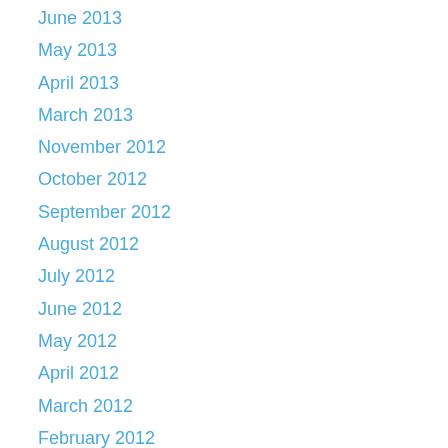June 2013
May 2013
April 2013
March 2013
November 2012
October 2012
September 2012
August 2012
July 2012
June 2012
May 2012
April 2012
March 2012
February 2012
January 2012
December 2011
November 2011
October 2011
September 2011
August 2011